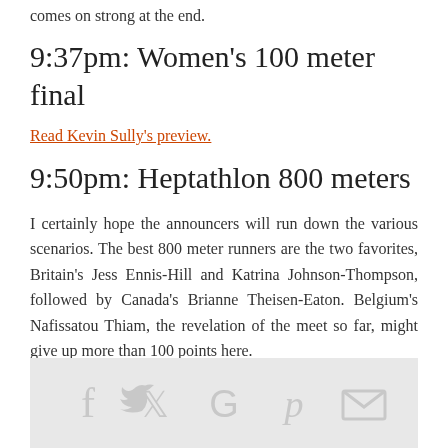comes on strong at the end.
9:37pm: Women's 100 meter final
Read Kevin Sully's preview.
9:50pm: Heptathlon 800 meters
I certainly hope the announcers will run down the various scenarios. The best 800 meter runners are the two favorites, Britain's Jess Ennis-Hill and Katrina Johnson-Thompson, followed by Canada's Brianne Theisen-Eaton. Belgium's Nafissatou Thiam, the revelation of the meet so far, might give up more than 100 points here.
[Figure (infographic): Social sharing bar with icons for Facebook, Twitter, Google+, Pinterest, and email/envelope]